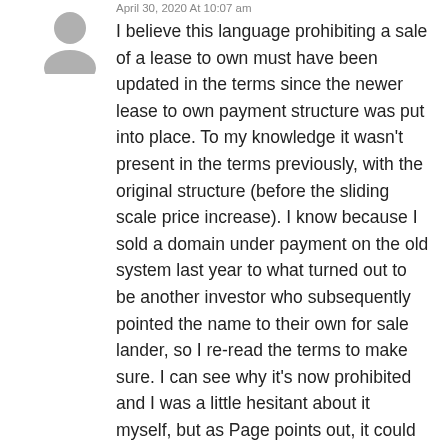[Figure (illustration): Grey silhouette avatar icon of a person]
April 30, 2020 At 10:07 am
I believe this language prohibiting a sale of a lease to own must have been updated in the terms since the newer lease to own payment structure was put into place. To my knowledge it wasn't present in the terms previously, with the original structure (before the sliding scale price increase). I know because I sold a domain under payment on the old system last year to what turned out to be another investor who subsequently pointed the name to their own for sale lander, so I re-read the terms to make sure. I can see why it's now prohibited and I was a little hesitant about it myself, but as Page points out, it could be fruitful